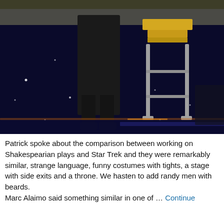[Figure (photo): A person standing on a dark stage near a tall stool or bar chair with a metallic frame. The background is dark with scattered small white light dots resembling stars. The scene appears to be from a convention or theatrical event.]
Patrick spoke about the comparison between working on Shakespearian plays and Star Trek and they were remarkably similar, strange language, funny costumes with tights, a stage with side exits and a throne. We hasten to add randy men with beards.
Marc Alaimo said something similar in one of … Continue